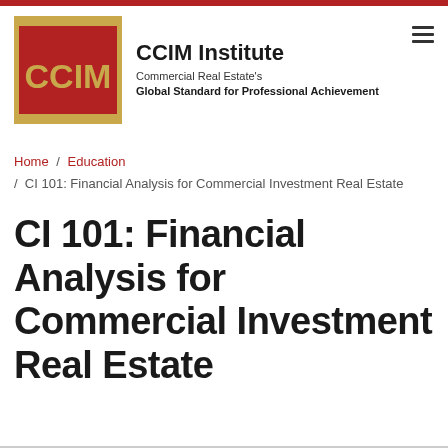[Figure (logo): CCIM Institute logo: red square with gold border and CCIM text, alongside institute name and tagline]
Home / Education / CI 101: Financial Analysis for Commercial Investment Real Estate
CI 101: Financial Analysis for Commercial Investment Real Estate